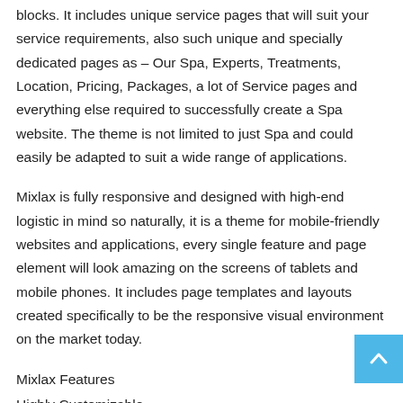blocks. It includes unique service pages that will suit your service requirements, also such unique and specially dedicated pages as – Our Spa, Experts, Treatments, Location, Pricing, Packages, a lot of Service pages and everything else required to successfully create a Spa website. The theme is not limited to just Spa and could easily be adapted to suit a wide range of applications.
Mixlax is fully responsive and designed with high-end logistic in mind so naturally, it is a theme for mobile-friendly websites and applications, every single feature and page element will look amazing on the screens of tablets and mobile phones. It includes page templates and layouts created specifically to be the responsive visual environment on the market today.
Mixlax Features
Highly Customizable
Extensive Admin Interface